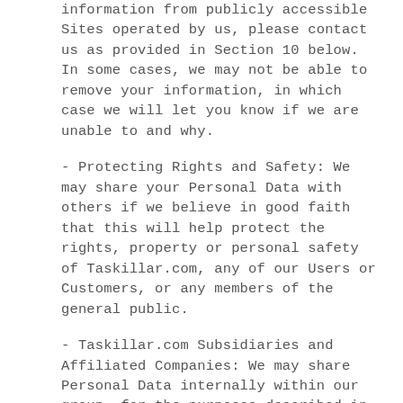information from publicly accessible Sites operated by us, please contact us as provided in Section 10 below. In some cases, we may not be able to remove your information, in which case we will let you know if we are unable to and why.
- Protecting Rights and Safety: We may share your Personal Data with others if we believe in good faith that this will help protect the rights, property or personal safety of Taskillar.com, any of our Users or Customers, or any members of the general public.
- Taskillar.com Subsidiaries and Affiliated Companies: We may share Personal Data internally within our group, for the purposes described in this Privacy Policy. In addition, should Taskillar.com or any of its subsidiaries or affiliates undergo any change in control, including by means of merger, acquisition or purchase of substantially all of its assets, your Personal Data may be shared with the parties involved in such an event. If we believe that such change in control might materially affect your Personal Data then stored with us, we will notify you of this event and the choices you may have via